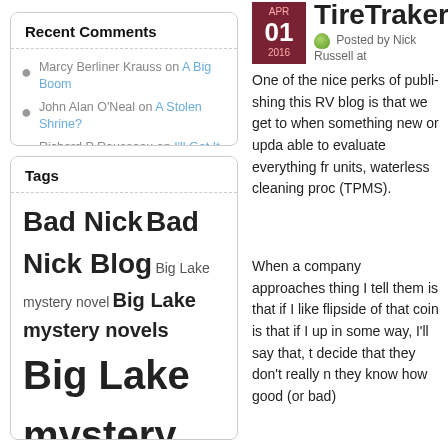Recent Comments
Marcy Berliner Krauss on A Big Boom
John Alan O'Neal on A Stolen Shrine?
Richard P Rousseau on I'll Get It To You
Susan Cameron on The Big 50!
Karen Bennett on Worn Out
Tags
Bad Nick Bad Nick Blog Big Lake mystery novel Big Lake mystery novels Big Lake mystery series Bus Conversion campground Civil War dry camping e-book publishing
TireTraker Up
Apr 01 2016 Posted by Nick Russell at
One of the nice perks of publishing this RV blog is that we get to when something new or upda able to evaluate everything fr units, waterless cleaning proc (TPMS).
When a company approaches thing I tell them is that if I like flipside of that coin is that if I up in some way, I'll say that, t decide that they don't really n they know how good (or bad)